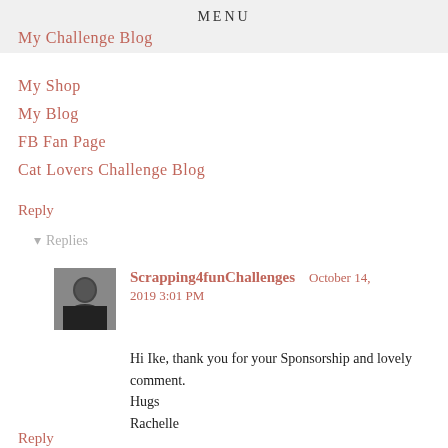MENU
My Challenge Blog
My Shop
My Blog
FB Fan Page
Cat Lovers Challenge Blog
Reply
▾ Replies
Scrapping4funChallenges   October 14, 2019 3:01 PM
Hi Ike, thank you for your Sponsorship and lovely comment.
Hugs
Rachelle
Reply